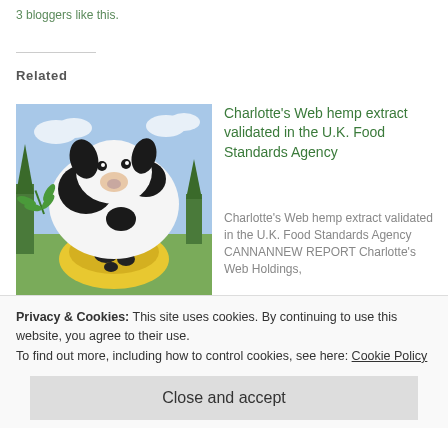3 bloggers like this.
Related
[Figure (illustration): Illustration of a dog with hemp/cannabis plant elements, a bowl of food, in a landscape setting with trees and clouds.]
The Future of Hemp-Fed Meat
May 15, 2020
In "Regional News"
Charlotte's Web hemp extract validated in the U.K. Food Standards Agency
Charlotte's Web hemp extract validated in the U.K. Food Standards Agency CANNANNEW REPORT Charlotte's Web Holdings,
August 31, 2022
In "Regional News"
Privacy & Cookies: This site uses cookies. By continuing to use this website, you agree to their use.
To find out more, including how to control cookies, see here: Cookie Policy
Close and accept
hemp-based lozenge